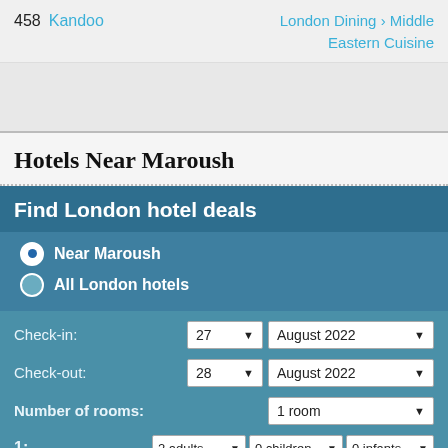458  Kandoo  London Dining > Middle Eastern Cuisine
Hotels Near Maroush
Find London hotel deals
Near Maroush
All London hotels
Check-in: 27 ▼  August 2022 ▼
Check-out: 28 ▼  August 2022 ▼
Number of rooms: 1 room ▼
1:  2 adults ▼  0 children ▼  0 infants ▼